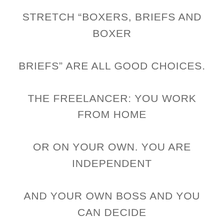STRETCH “BOXERS, BRIEFS AND BOXER BRIEFS” ARE ALL GOOD CHOICES. THE FREELANCER: YOU WORK FROM HOME OR ON YOUR OWN. YOU ARE INDEPENDENT AND YOUR OWN BOSS AND YOU CAN DECIDE YOUR CLOTHES OF CHOICE. YOU CAN ENJOY THE FREEDOM OF WORKING IN JEANS AND T-SHIRTS AND THIS TRANSLATES ALSO TO YOUR “UNDERWEAR” . THERE IS A GREAT